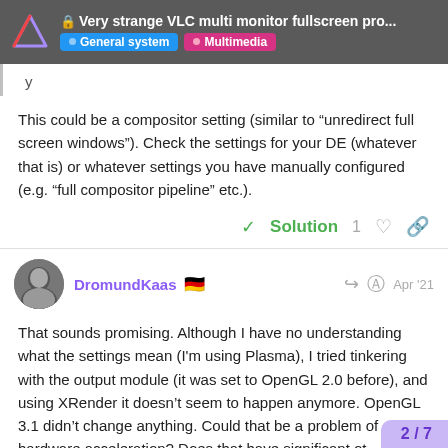Very strange VLC multi monitor fullscreen pro... | General system | Multimedia
y
This could be a compositor setting (similar to “unredirect full screen windows”). Check the settings for your DE (whatever that is) or whatever settings you have manually configured (e.g. “full compositor pipeline” etc.).
✓ Solution  1  ♡  🔗
DromundKaas 🇩🇪  Apr '21
That sounds promising. Although I have no understanding what the settings mean (I'm using Plasma), I tried tinkering with the output module (it was set to OpenGL 2.0 before), and using XRender it doesn’t seem to happen anymore. OpenGL 3.1 didn’t change anything. Could that be a problem of hardware acceleration? Does that have significant ot
2 / 7